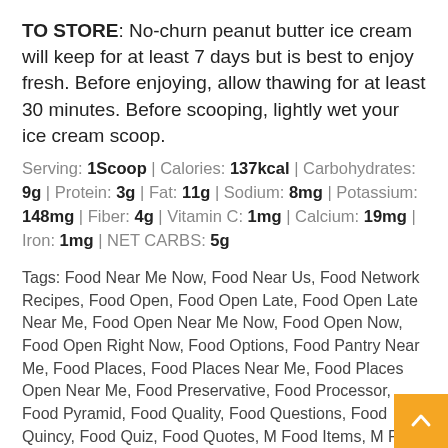TO STORE: No-churn peanut butter ice cream will keep for at least 7 days but is best to enjoy fresh. Before enjoying, allow thawing for at least 30 minutes. Before scooping, lightly wet your ice cream scoop.
Serving: 1Scoop | Calories: 137kcal | Carbohydrates: 9g | Protein: 3g | Fat: 11g | Sodium: 8mg | Potassium: 148mg | Fiber: 4g | Vitamin C: 1mg | Calcium: 19mg | Iron: 1mg | NET CARBS: 5g
Tags: Food Near Me Now, Food Near Us, Food Network Recipes, Food Open, Food Open Late, Food Open Late Near Me, Food Open Near Me Now, Food Open Now, Food Open Right Now, Food Options, Food Pantry Near Me, Food Places, Food Places Near Me, Food Places Open Near Me, Food Preservative, Food Processor, Food Pyramid, Food Quality, Food Questions, Food Quincy, Food Quiz, Food Quotes, M Food Items, M Food Logo, M